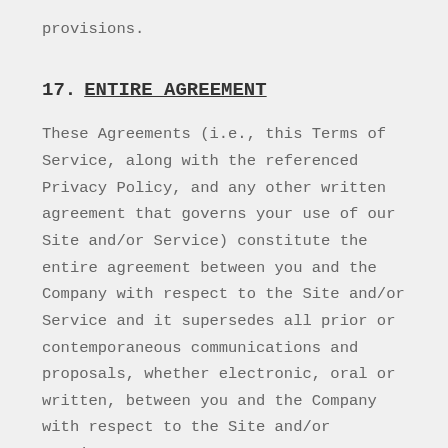provisions.
17.  ENTIRE AGREEMENT
These Agreements (i.e., this Terms of Service, along with the referenced Privacy Policy, and any other written agreement that governs your use of our Site and/or Service) constitute the entire agreement between you and the Company with respect to the Site and/or Service and it supersedes all prior or contemporaneous communications and proposals, whether electronic, oral or written, between you and the Company with respect to the Site and/or Service.